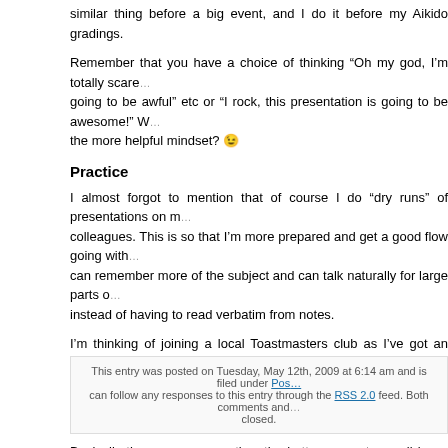similar thing before a big event, and I do it before my Aikido gradings.
Remember that you have a choice of thinking “Oh my god, I’m totally scared, it’s going to be awful” etc or “I rock, this presentation is going to be awesome!” Which is the more helpful mindset? 😉
Practice
I almost forgot to mention that of course I do “dry runs” of presentations on my colleagues. This is so that I’m more prepared and get a good flow going with it, can remember more of the subject and can talk naturally for large parts of it instead of having to read verbatim from notes.
I’m thinking of joining a local Toastmasters club as I’ve got an interest in public speaking and would like to do more of it. Perhaps this is something you could look into. Or you could join some kind of debating club.
Basically the more you practice, the better you get, we all know this – so get practicing!
Anyway I hope that you found my own thoughts about public speaking some use to you. Please share your experiences and advice in the comments.
This entry was posted on Tuesday, May 12th, 2009 at 6:14 am and is filed under Positive... You can follow any responses to this entry through the RSS 2.0 feed. Both comments and pings are currently closed.